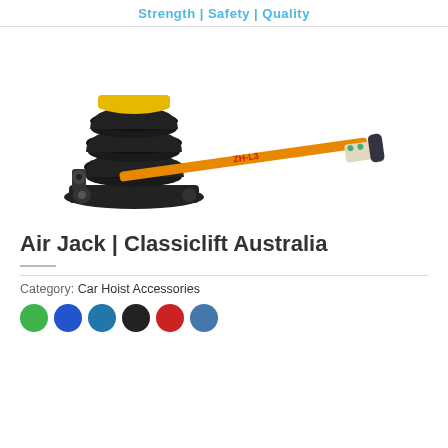Strength | Safety | Quality
[Figure (photo): Air jack product photo showing a pneumatic air jack with black inflatable rubber bellows and an orange pump handle labeled ZH-L3]
Air Jack | Classiclift Australia
Category: Car Hoist Accessories
[Figure (other): Row of colored circular swatches: green, blue, teal/dark blue, black, red, blue-grey]